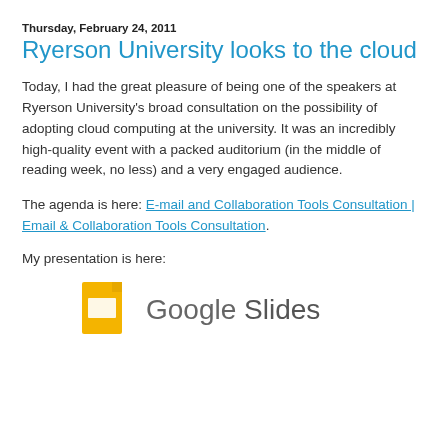Thursday, February 24, 2011
Ryerson University looks to the cloud
Today, I had the great pleasure of being one of the speakers at Ryerson University's broad consultation on the possibility of adopting cloud computing at the university. It was an incredibly high-quality event with a packed auditorium (in the middle of reading week, no less) and a very engaged audience.
The agenda is here: E-mail and Collaboration Tools Consultation | Email & Collaboration Tools Consultation.
My presentation is here:
[Figure (logo): Google Slides logo with yellow document icon and Google Slides text]